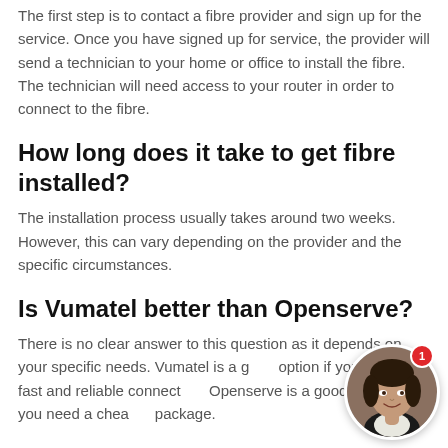The first step is to contact a fibre provider and sign up for the service. Once you have signed up for service, the provider will send a technician to your home or office to install the fibre. The technician will need access to your router in order to connect to the fibre.
How long does it take to get fibre installed?
The installation process usually takes around two weeks. However, this can vary depending on the provider and the specific circumstances.
Is Vumatel better than Openserve?
There is no clear answer to this question as it depends on your specific needs. Vumatel is a good option if you need a fast and reliable connection. Openserve is a good option if you need a cheaper package.
[Figure (photo): Round chat avatar photo of a woman smiling, with a red notification badge showing '1' in the top-right corner.]